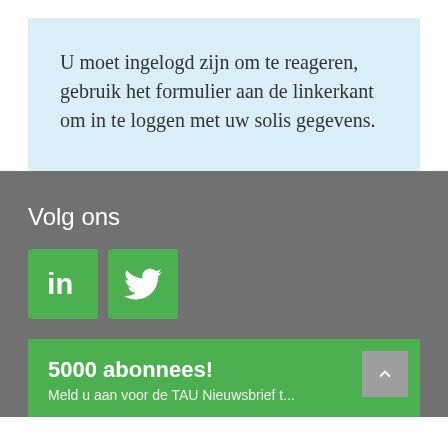U moet ingelogd zijn om te reageren, gebruik het formulier aan de linkerkant om in te loggen met uw solis gegevens.
Volg ons
[Figure (logo): LinkedIn logo icon (green square with white 'in' text) and Twitter logo icon (green square with white bird icon)]
5000 abonnees!